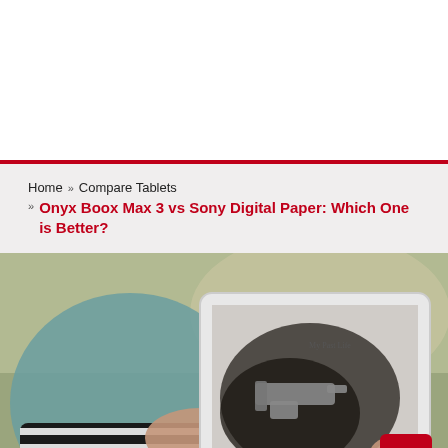Home » Compare Tablets » Onyx Boox Max 3 vs Sony Digital Paper: Which One is Better?
[Figure (photo): Person in striped shirt holding a large e-ink tablet/e-reader displaying a book cover titled 'My Past Life' by Tina Udrea, showing a gun image on the cover. The person is seated and the background shows a teal/blue chair.]